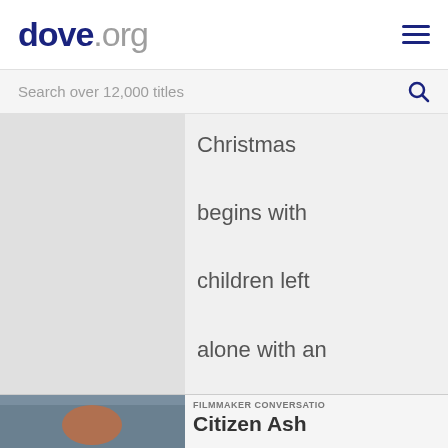dove.org
Search over 12,000 titles
Christmas begins with children left alone with an older relative who spi...
FILMMAKER CONVERSATIONS
Citizen Ash Director...